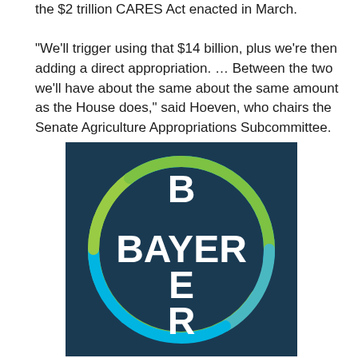the $2 trillion CARES Act enacted in March.

"We'll trigger using that $14 billion, plus we're then adding a direct appropriation. ... Between the two we'll have about the same about the same amount as the House does," said Hoeven, who chairs the Senate Agriculture Appropriations Subcommittee.
[Figure (logo): Bayer company logo: dark navy blue square background with the Bayer cross logo — a circular ring in green and blue gradient containing a crossword-style layout of the word BAYER (B on top vertically, BAYER horizontally, and ER below vertically) in bold white letters on dark navy background.]